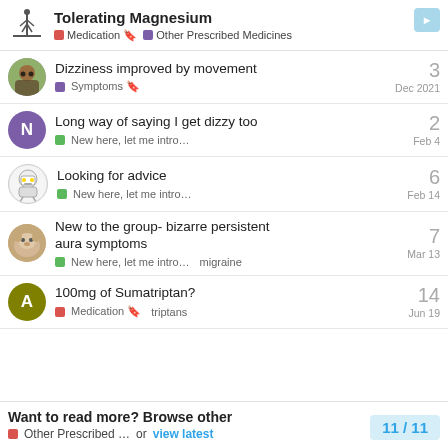Tolerating Magnesium | Medication | Other Prescribed Medicines
Dizziness improved by movement | Symptoms | Dec 2021 | 3 replies
Long way of saying I get dizzy too | New here, let me intro… | Feb 4 | 2 replies
Looking for advice | New here, let me intro… | Feb 14 | 6 replies
New to the group- bizarre persistent aura symptoms | New here, let me intro… migraine | Mar 13 | 7 replies
100mg of Sumatriptan? | Medication triptans | Jun 19 | 14 replies
Want to read more? Browse other Other Prescribed … or view latest 11 / 11